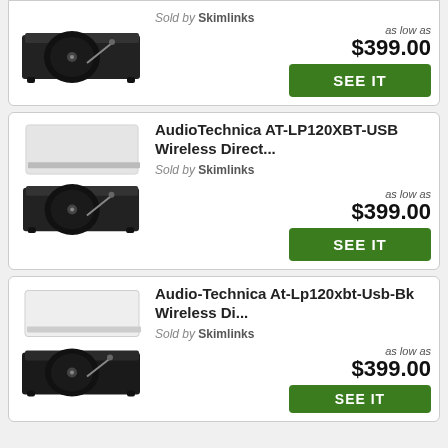[Figure (photo): Turntable product image - dark Audio-Technica turntable (partial card 1)]
Sold by Skimlinks
as low as $399.00
SEE IT
[Figure (photo): Audio-Technica AT-LP120XBT-USB turntable with dust cover raised]
AudioTechnica AT-LP120XBT-USB Wireless Direct...
Sold by Skimlinks
as low as $399.00
SEE IT
[Figure (photo): Audio-Technica At-Lp120xbt turntable with dust cover raised]
Audio-Technica At-Lp120xbt-Usb-Bk Wireless Di...
Sold by Skimlinks
as low as $399.00
SEE IT